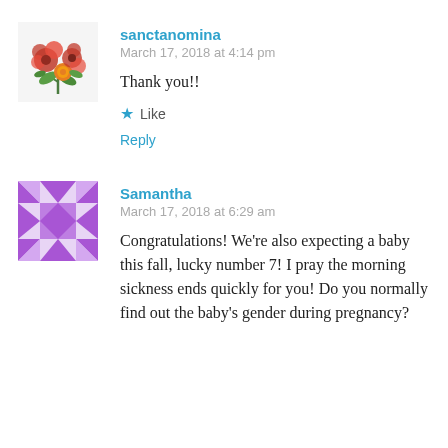[Figure (illustration): Floral avatar image with red and yellow flowers]
sanctanomina
March 17, 2018 at 4:14 pm
Thank you!!
★ Like
Reply
[Figure (illustration): Purple geometric quilt-pattern avatar]
Samantha
March 17, 2018 at 6:29 am
Congratulations! We're also expecting a baby this fall, lucky number 7! I pray the morning sickness ends quickly for you! Do you normally find out the baby's gender during pregnancy?